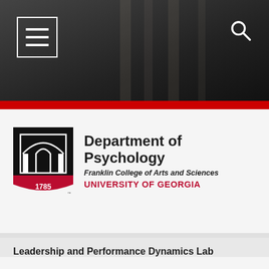[Figure (screenshot): University of Georgia website header with dark photo background, hamburger menu icon top left, and search icon top right]
[Figure (logo): University of Georgia Department of Psychology logo: UGA arch shield with '1785', text reading 'Department of Psychology', 'Franklin College of Arts and Sciences', 'UNIVERSITY OF GEORGIA']
Leadership and Performance Dynamics Lab